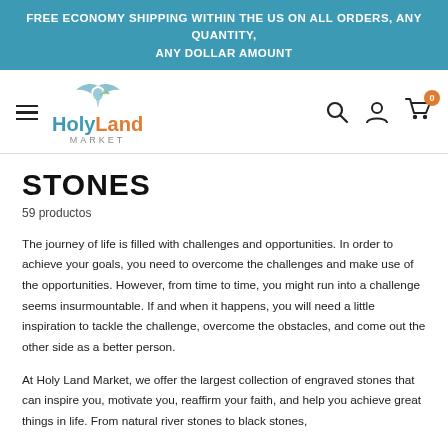FREE ECONOMY SHIPPING WITHIN THE US ON ALL ORDERS, ANY QUANTITY, ANY DOLLAR AMOUNT
[Figure (logo): Holy Land Market logo with stylized dove and olive branch above the text 'HolyLand Market']
STONES
59 productos
The journey of life is filled with challenges and opportunities. In order to achieve your goals, you need to overcome the challenges and make use of the opportunities. However, from time to time, you might run into a challenge seems insurmountable. If and when it happens, you will need a little inspiration to tackle the challenge, overcome the obstacles, and come out the other side as a better person.
At Holy Land Market, we offer the largest collection of engraved stones that can inspire you, motivate you, reaffirm your faith, and help you achieve great things in life. From natural river stones to black stones,